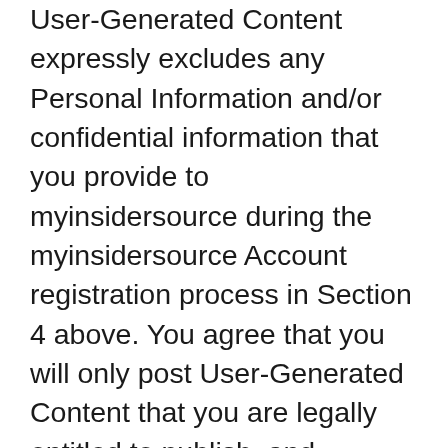User-Generated Content expressly excludes any Personal Information and/or confidential information that you provide to myinsidersource during the myinsidersource Account registration process in Section 4 above. You agree that you will only post User-Generated Content that you are legally entitled to publish, and Reviews that you believe to be true, and that you will not purposely provide false or misleading information in your Reviews. Unless you have the express consent of the proper owner of any materials that are copyrighted, trademarked or otherwise subject to a proprietary right, you are not permitted to upload, post, or otherwise make such materials available on or though the Services. You are solely